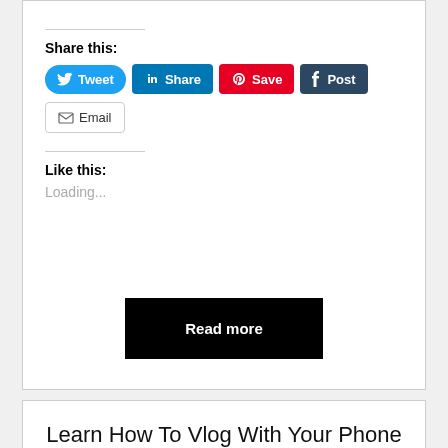Share this:
[Figure (screenshot): Social share buttons: Tweet (Twitter/blue), Share (LinkedIn/blue), Save (Pinterest/red), Post (Tumblr/dark), Email (grey outline)]
Like this:
Loading...
[Figure (screenshot): Black 'Read more' button]
Learn How To Vlog With Your Phone Lesson 12: Working with Snapchat & Vertical Video